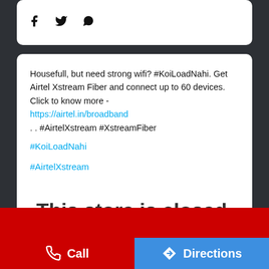[Figure (screenshot): Social share icons: Facebook, Twitter, WhatsApp at top of card]
Housefull, but need strong wifi? #KoiLoadNahi. Get Airtel Xstream Fiber and connect up to 60 devices. Click to know more -
https://airtel.in/broadband
. . #AirtelXstream #XstreamFiber
#KoiLoadNahi
#AirtelXstream
This store is closed. Please check out the Nearby Stores below
[Figure (screenshot): Bottom social share icons (faded): Facebook, Twitter, WhatsApp]
[Figure (screenshot): Red footer bar and CTA buttons: Call and Directions]